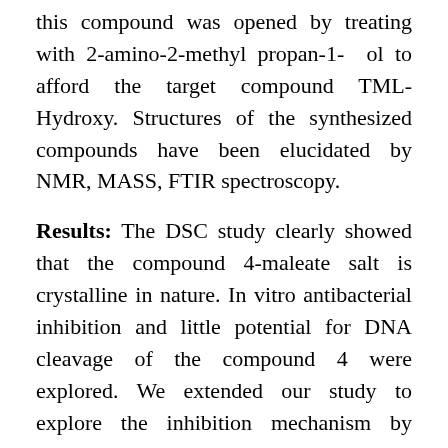this compound was opened by treating with 2-amino-2-methyl propan-1- ol to afford the target compound TML-Hydroxy. Structures of the synthesized compounds have been elucidated by NMR, MASS, FTIR spectroscopy.
Results: The DSC study clearly showed that the compound 4-maleate salt is crystalline in nature. In vitro antibacterial inhibition and little potential for DNA cleavage of the compound 4 were explored. We extended our study to explore the inhibition mechanism by conducting molecular docking, ADMET and molecular dynamics analysis by using Schrödinger. The molecular docking for compound 4 showed better interactions with